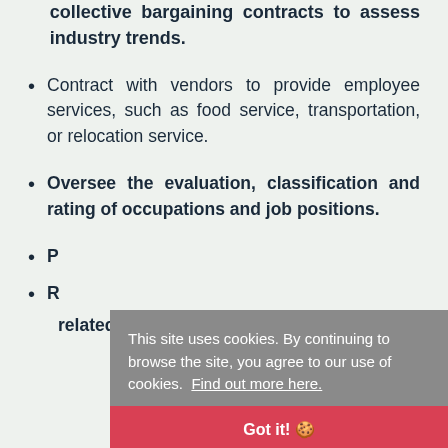collective bargaining contracts to assess industry trends.
Contract with vendors to provide employee services, such as food service, transportation, or relocation service.
Oversee the evaluation, classification and rating of occupations and job positions.
P... [partially obscured by cookie banner]
R... related hearings and investigations [partially obscured by cookie banner]
This site uses cookies. By continuing to browse the site, you agree to our use of cookies. Find out more here.
Got it! 🍪